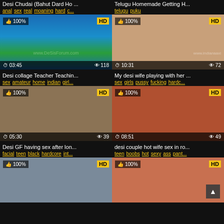[Figure (screenshot): Video thumbnail grid showing adult content website with 6 video cards in a 2-column layout, each with thumbnail image, HD badge, percentage rating, duration, view count, title, and tags]
Desi Chudai (Bahut Dard Ho ...
anal sex real moaning hard c...
Telugu Homemade Getting H...
telugu puku
Desi collage Teacher Teachin...
sex amateur home indian girl...
My desi wife playing with her ...
sex girls pussy fucking hardc...
Desi GF having sex after lon...
facial teen black hardcore int...
desi couple hot wife sex in ro...
teen boobs hot sexy ass pant...